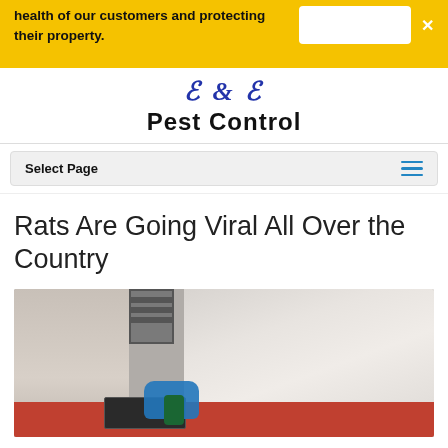health of our customers and protecting their property.
[Figure (logo): B & B Pest Control logo with decorative script B & B in blue and bold sans-serif Pest Control text]
Select Page
Rats Are Going Viral All Over the Country
[Figure (photo): A pest control worker wearing a white hoodie and blue gloves, crouching near an AC unit against a wall, handling a rat trap on a red-covered ground]